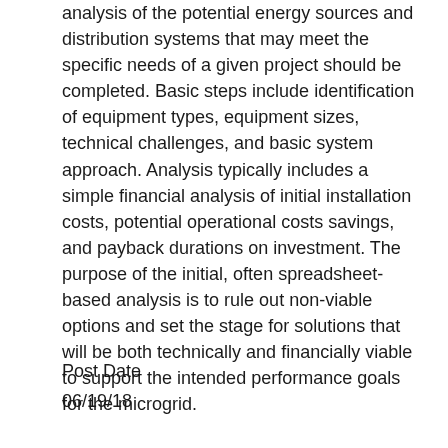analysis of the potential energy sources and distribution systems that may meet the specific needs of a given project should be completed. Basic steps include identification of equipment types, equipment sizes, technical challenges, and basic system approach. Analysis typically includes a simple financial analysis of initial installation costs, potential operational costs savings, and payback durations on investment. The purpose of the initial, often spreadsheet-based analysis is to rule out non-viable options and set the stage for solutions that will be both technically and financially viable to support the intended performance goals for the microgrid.
Post Date
06/19/18